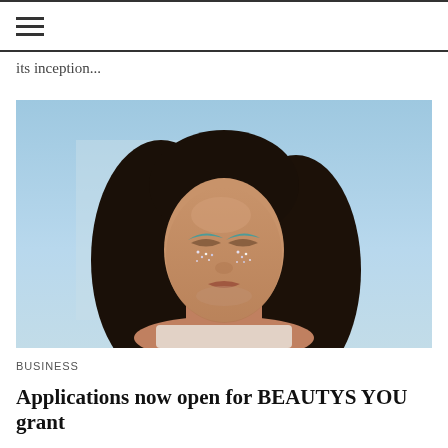≡ (hamburger menu icon)
its inception...
[Figure (photo): A woman with long dark wavy hair, eyes closed, face tilted upward, wearing decorative teal/green glitter eye makeup with rhinestone tear-drop details dripping from her eyes, wearing a white sheer top, against a light blue sky background.]
BUSINESS
Applications now open for BEAUTYS YOU grant